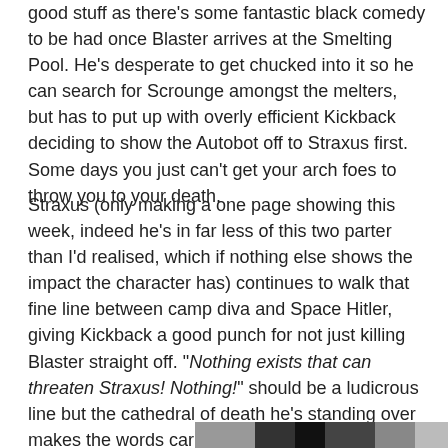good stuff as there's some fantastic black comedy to be had once Blaster arrives at the Smelting Pool. He's desperate to get chucked into it so he can search for Scrounge amongst the melters, but has to put up with overly efficient Kickback deciding to show the Autobot off to Straxus first. Some days you just can't get your arch foes to throw you to your death.
Straxus (only making a one page showing this week, indeed he's in far less of this two parter than I'd realised, which if nothing else shows the impact the character has) continues to walk that fine line between camp diva and Space Hitler, giving Kickback a good punch for not just killing Blaster straight off. "Nothing exists that can threaten Straxus! Nothing!" should be a ludicrous line but the cathedral of death he's standing over makes the words carry more credibility than they would if uttered by any of the other Decepticon leaders.
[Figure (photo): Partial image strip visible at the bottom of the page, appears to be a cropped portion of a comic or illustration panel.]